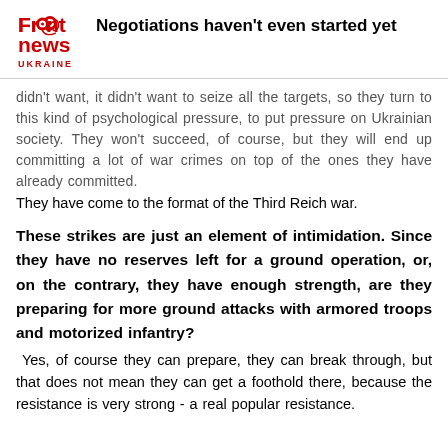Negotiations haven't even started yet
didn't want, it didn't want to seize all the targets, so they turn to this kind of psychological pressure, to put pressure on Ukrainian society. They won't succeed, of course, but they will end up committing a lot of war crimes on top of the ones they have already committed.
They have come to the format of the Third Reich war.
These strikes are just an element of intimidation. Since they have no reserves left for a ground operation, or, on the contrary, they have enough strength, are they preparing for more ground attacks with armored troops and motorized infantry?
Yes, of course they can prepare, they can break through, but that does not mean they can get a foothold there, because the resistance is very strong - a real popular resistance.